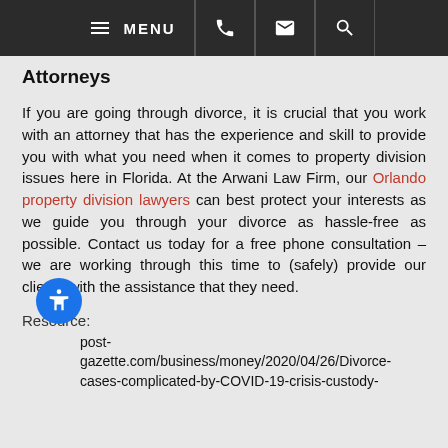MENU [phone] [email] [search]
Attorneys
If you are going through divorce, it is crucial that you work with an attorney that has the experience and skill to provide you with what you need when it comes to property division issues here in Florida. At the Arwani Law Firm, our Orlando property division lawyers can best protect your interests as we guide you through your divorce as hassle-free as possible. Contact us today for a free phone consultation – we are working through this time to (safely) provide our clients with the assistance that they need.
Resource:
post-gazette.com/business/money/2020/04/26/Divorce-cases-complicated-by-COVID-19-crisis-custody-